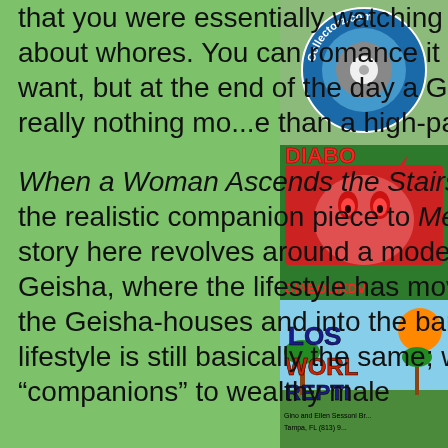that you were essentially watching a movie about whores. You can romance it all you want, but at the end of the day a Geisha is really nothing mo...e than a high-paid escort.
When a Woman Ascends the Stairs is sort of the realistic companion piece to Memoirs. The story here revolves around a modern-day Geisha, where the lifestyle has moved out of the Geisha-houses and into the bars. The lifestyle is still basically the same; women are “companions” to wealthy male
[Figure (logo): Collectorz.com circular logo with disc imagery, blue and grey tones]
[Figure (logo): Diabolik DVD logo in red text on green background with devil/monster imagery, text reads DIABOLIKDV...]
[Figure (logo): Lost World Reptiles logo with jungle/palm tree scene, text reads LOST WORLD REPTI... with contact info: Gino and Ellen Sessoni Br... Tampa, FL (813) 9...]